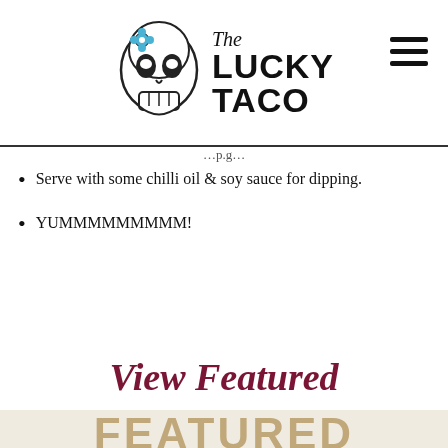[Figure (logo): The Lucky Taco logo with a sugar skull illustration and stylized text reading 'The Lucky Taco']
Serve with some chilli oil & soy sauce for dipping.
YUMMMMMMMMM!
View Featured Products
[Figure (illustration): A decorative curved arrow pointing downward in dark maroon/burgundy color]
FEATURED (partially visible text at bottom)